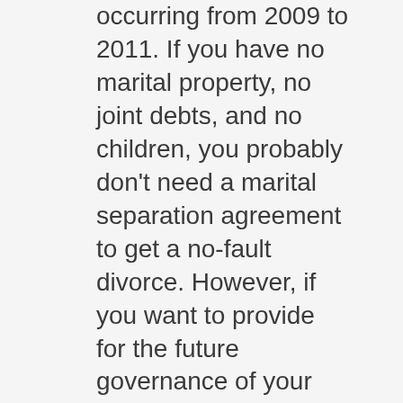occurring from 2009 to 2011. If you have no marital property, no joint debts, and no children, you probably don't need a marital separation agreement to get a no-fault divorce. However, if you want to provide for the future governance of your relationship, as well as provide additional evidence to the court about the day that you separated, you should have a Marital Settlement Agreement. An agreement leaves no doubt about the details of the ending of your marriage relationship. It is better to have a clearly written agreement, rather than rely on verbal understandings. WHEREAS, we